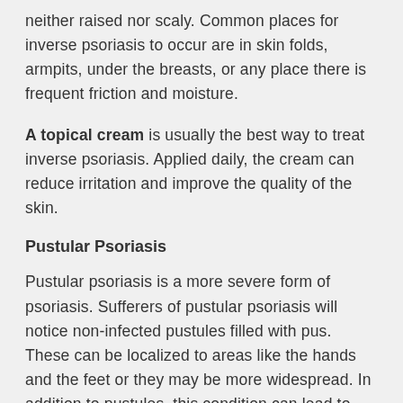neither raised nor scaly. Common places for inverse psoriasis to occur are in skin folds, armpits, under the breasts, or any place there is frequent friction and moisture.
A topical cream is usually the best way to treat inverse psoriasis. Applied daily, the cream can reduce irritation and improve the quality of the skin.
Pustular Psoriasis
Pustular psoriasis is a more severe form of psoriasis. Sufferers of pustular psoriasis will notice non-infected pustules filled with pus. These can be localized to areas like the hands and the feet or they may be more widespread. In addition to pustules, this condition can lead to redness and scaling as well.